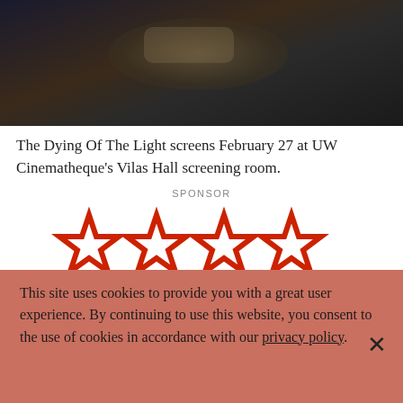[Figure (photo): Dark cinematic scene with camera equipment and lighting, moody dark background with warm tones]
The Dying Of The Light screens February 27 at UW Cinematheque's Vilas Hall screening room.
SPONSOR
[Figure (logo): Four Star Video Rental logo with four red outlined stars above the text 'FOUR STAR VIDEO RENTAL' in bold art-deco style lettering]
459 W Gilman St, Suite 260
Overall 20,000 titles for rent. In-store browsing, curbside pickup, only reservations and delivery available
Open Daily Noon-7pm, fourstarvideorental.com, (608)255-1994 Masks Required!
This site uses cookies to provide you with a great user experience. By continuing to use this website, you consent to the use of cookies in accordance with our privacy_policy.